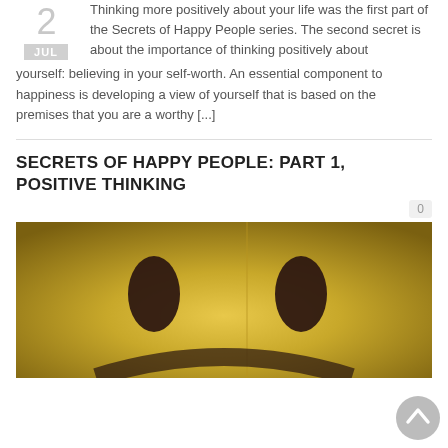Thinking more positively about your life was the first part of the Secrets of Happy People series. The second secret is about the importance of thinking positively about yourself: believing in your self-worth. An essential component to happiness is developing a view of yourself that is based on the premises that you are a worthy [...]
SECRETS OF HAPPY PEOPLE: PART 1, POSITIVE THINKING
0
[Figure (illustration): Close-up of a golden/yellow smiley face with dark oval eyes visible on a golden gradient background]